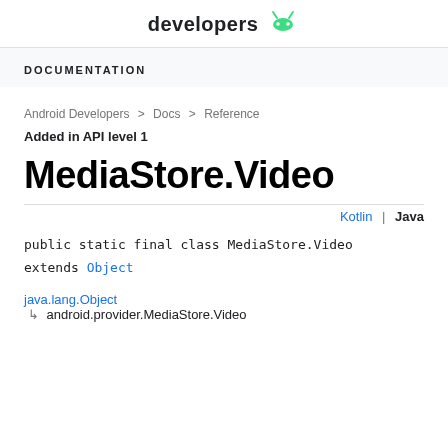developers [Android logo]
DOCUMENTATION
Android Developers > Docs > Reference
Added in API level 1
MediaStore.Video
Kotlin | Java
public static final class MediaStore.Video extends Object
java.lang.Object
↳ android.provider.MediaStore.Video